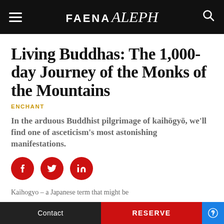FAENA aleph
Living Buddhas: The 1,000-day Journey of the Monks of the Mountains
ENCHANT
In the arduous Buddhist pilgrimage of kaihōgyō, we'll find one of asceticism's most astonishing manifestations.
[Figure (infographic): Three red circular social media share buttons: Facebook (f), Twitter (bird), LinkedIn (in)]
Kaihogyo – a Japanese term that might be
Contact | RESERVE